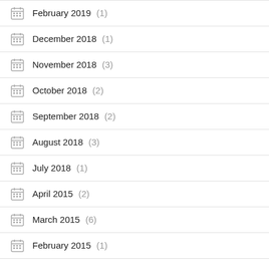February 2019 (1)
December 2018 (1)
November 2018 (3)
October 2018 (2)
September 2018 (2)
August 2018 (3)
July 2018 (1)
April 2015 (2)
March 2015 (6)
February 2015 (1)